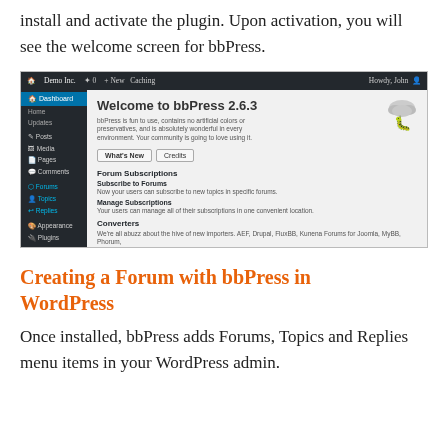install and activate the plugin. Upon activation, you will see the welcome screen for bbPress.
[Figure (screenshot): Screenshot of the WordPress admin dashboard showing the bbPress 2.6.3 welcome screen. The left sidebar shows the WordPress navigation menu including Dashboard, Posts, Media, Pages, Comments, Forums, Topics, Replies, Appearance, Plugins, Users, Tools, Settings, and Collapse menu. The main content area displays 'Welcome to bbPress 2.6.3' with a tagline, What's New and Credits tabs, Forum Subscriptions section with Subscribe to Forums and Manage Subscriptions sub-sections, and a Converters section. A bbPress cloud logo appears in the top right of the welcome area.]
Creating a Forum with bbPress in WordPress
Once installed, bbPress adds Forums, Topics and Replies menu items in your WordPress admin.